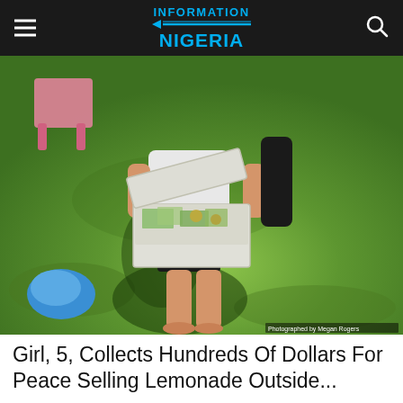INFORMATION NIGERIA
[Figure (photo): A child standing barefoot on grass holding an open plastic container filled with dollar bills and coins. A blue object is visible on the lower left. A pink chair is in the background. Photo credit: Photographed by Megan Rogers.]
Girl, 5, Collects Hundreds Of Dollars For Peace Selling Lemonade Outside...